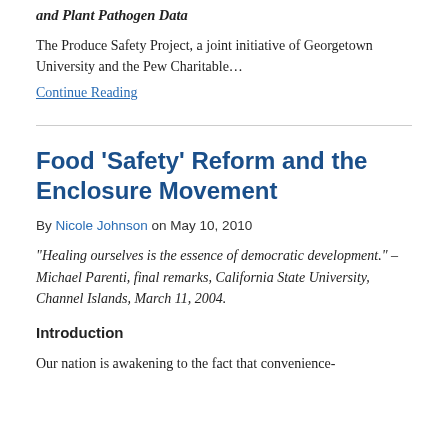and Plant Pathogen Data
The Produce Safety Project, a joint initiative of Georgetown University and the Pew Charitable…
Continue Reading
Food 'Safety' Reform and the Enclosure Movement
By Nicole Johnson on May 10, 2010
“Healing ourselves is the essence of democratic development.”  –Michael Parenti, final remarks, California State University, Channel Islands, March 11, 2004.
Introduction
Our nation is awakening to the fact that convenience-